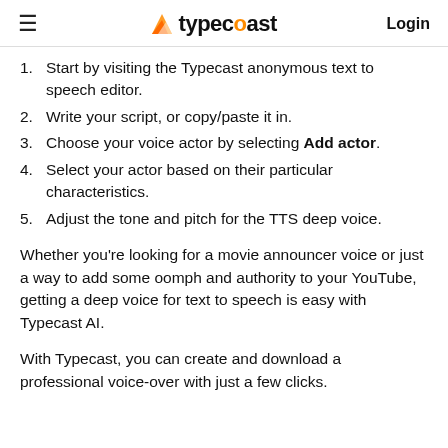≡   typecast   Login
1. Start by visiting the Typecast anonymous text to speech editor.
2. Write your script, or copy/paste it in.
3. Choose your voice actor by selecting Add actor.
4. Select your actor based on their particular characteristics.
5. Adjust the tone and pitch for the TTS deep voice.
Whether you're looking for a movie announcer voice or just a way to add some oomph and authority to your YouTube, getting a deep voice for text to speech is easy with Typecast AI.
With Typecast, you can create and download a professional voice-over with just a few clicks.